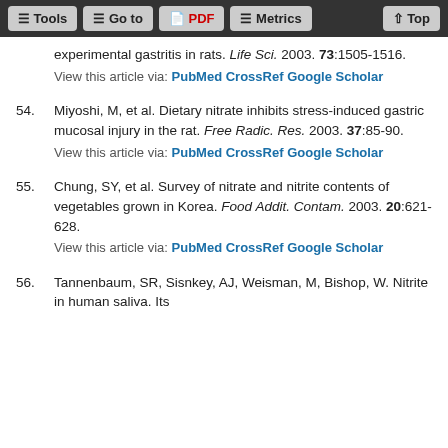Tools | Go to | PDF | Metrics | Top
experimental gastritis in rats. Life Sci. 2003. 73:1505-1516.
View this article via: PubMed CrossRef Google Scholar
54. Miyoshi, M, et al. Dietary nitrate inhibits stress-induced gastric mucosal injury in the rat. Free Radic. Res. 2003. 37:85-90.
View this article via: PubMed CrossRef Google Scholar
55. Chung, SY, et al. Survey of nitrate and nitrite contents of vegetables grown in Korea. Food Addit. Contam. 2003. 20:621-628.
View this article via: PubMed CrossRef Google Scholar
56. Tannenbaum, SR, Sisnkey, AJ, Weisman, M, Bishop, W. Nitrite in human saliva. Its